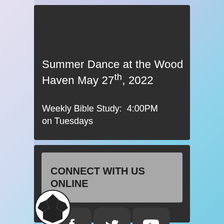Summer Dance at the Wood Haven May 27th, 2022
Weekly Bible Study:  4:00PM on Tuesdays
CONNECT WITH US ONLINE
[Figure (infographic): Social media icons: Facebook (f), Twitter (bird), YouTube (play button)]
[Figure (illustration): Soccer ball partially visible at bottom left]